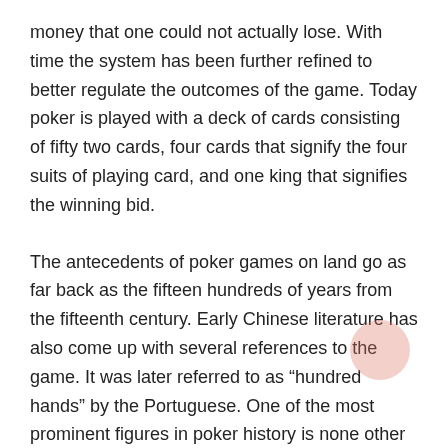money that one could not actually lose. With time the system has been further refined to better regulate the outcomes of the game. Today poker is played with a deck of cards consisting of fifty two cards, four cards that signify the four suits of playing card, and one king that signifies the winning bid.
The antecedents of poker games on land go as far back as the fifteen hundreds of years from the fifteenth century. Early Chinese literature has also come up with several references to the game. It was later referred to as “hundred hands” by the Portuguese. One of the most prominent figures in poker history is none other than George Plimpton who is considered to be the first true professional poker player. He played this game for fun and even ended up winning more money than he lost! In fact he went on to establish a company that produced